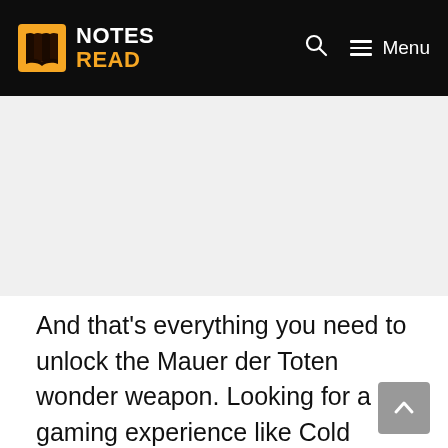NOTES READ — Menu
[Figure (other): Advertisement/banner placeholder area (gray background)]
And that's everything you need to unlock the Mauer der Toten wonder weapon. Looking for a gaming experience like Cold War's Zombie mode? Take a look at our best zombies games list which highlights some of the greatest undead games around. If you fancy a bit of Warzone after your zombies sesh, head